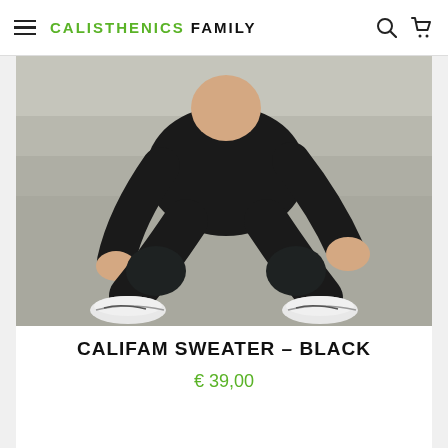CALISTHENICS FAMILY
[Figure (photo): Person wearing all-black outfit (black sweatshirt, black pants, white Nike sneakers) crouching in a squat position outdoors on a concrete/stone surface.]
CALIFAM SWEATER – BLACK
€ 39,00